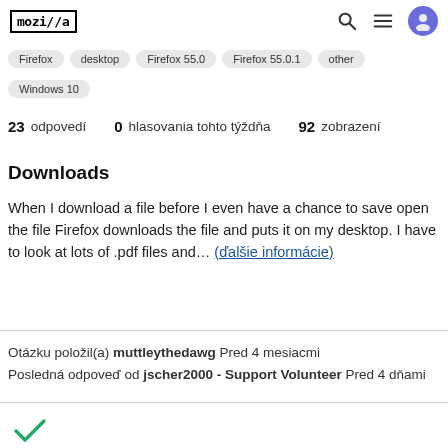mozilla
Firefox  desktop  Firefox 55.0  Firefox 55.0.1  other
Windows 10
23 odpovedí  0 hlasovania tohto týždňa  92 zobrazení
Downloads
When I download a file before I even have a chance to save open the file Firefox downloads the file and puts it on my desktop. I have to look at lots of .pdf files and… (ďalšie informácie)
Otázku položil(a) muttleythedawg Pred 4 mesiacmi
Posledná odpoveď od jscher2000 - Support Volunteer Pred 4 dňami
[Figure (other): Green checkmark icon]